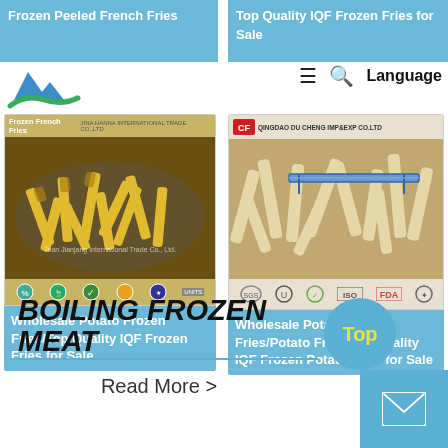[Figure (screenshot): Website header with logo (mountain/wave blue-green logo) and navigation icons (hamburger menu, search, Language)]
Frozen Peeled French Fries
Top Quality IQF Frozen Fries for Sale
[Figure (photo): Product card showing golden frozen french fries in a bowl with certification icons bar at bottom, labeled 'Frozen French Fries' with company branding. Caption: Wholesale Potato Frozen Fries/Top Quality IQF Frozen Fries for Sale]
Wholesale Potato Frozen Fries/Top Quality IQF Frozen Fries for Sale
[Figure (photo): Product card from QINGDAO DU CHENG IMP&EXP CO.LTD showing raw frozen potato fries with caliper measurement, certification icons bar. Caption: Wholesale Potato Frozen Fries/Potato Fries/Top Quality IQF Frozen Potato Fries for Sale]
Wholesale Potato Frozen Fries/Potato Fries/Top Quality IQF Frozen Potato Fries for Sale
BOILING FROZEN MEAT
Read More >